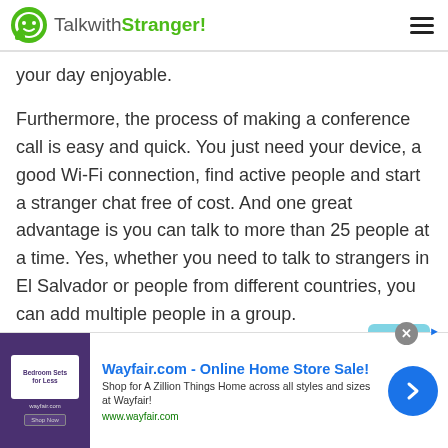TalkwithStranger!
your day enjoyable.
Furthermore, the process of making a conference call is easy and quick. You just need your device, a good Wi-Fi connection, find active people and start a stranger chat free of cost. And one great advantage is you can talk to more than 25 people at a time. Yes, whether you need to talk to strangers in El Salvador or people from different countries, you can add multiple people in a group.
So, if you are a student, employee or businessman